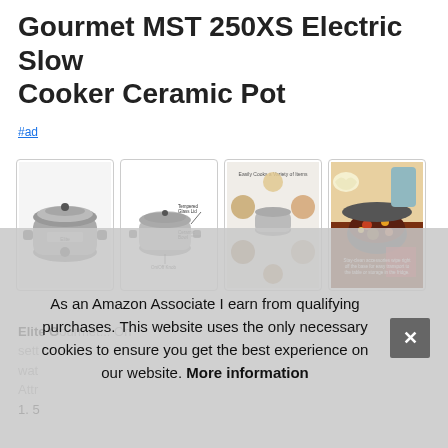Gourmet MST 250XS Electric Slow Cooker Ceramic Pot
#ad
[Figure (photo): Four product images of the Gourmet MST 250XS Electric Slow Cooker Ceramic Pot: (1) product photo of the slow cooker, (2) product diagram with labels, (3) collage of food/recipes, (4) food photo of stew in the cooker with marketing text]
Elite Gourmet ... On setting the ... watch to ... Attr ... 1. 5 ...
As an Amazon Associate I earn from qualifying purchases. This website uses the only necessary cookies to ensure you get the best experience on our website. More information